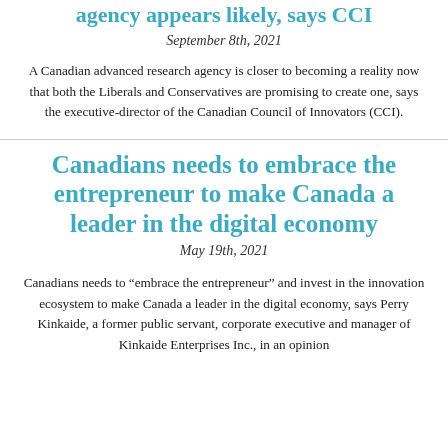agency appears likely, says CCI
September 8th, 2021
A Canadian advanced research agency is closer to becoming a reality now that both the Liberals and Conservatives are promising to create one, says the executive-director of the Canadian Council of Innovators (CCI).
Canadians needs to embrace the entrepreneur to make Canada a leader in the digital economy
May 19th, 2021
Canadians needs to “embrace the entrepreneur” and invest in the innovation ecosystem to make Canada a leader in the digital economy, says Perry Kinkaide, a former public servant, corporate executive and manager of Kinkaide Enterprises Inc., in an opinion